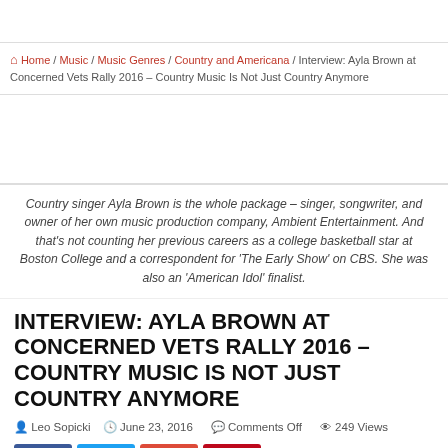🏠 Home / Music / Music Genres / Country and Americana / Interview: Ayla Brown at Concerned Vets Rally 2016 – Country Music Is Not Just Country Anymore
Country singer Ayla Brown is the whole package – singer, songwriter, and owner of her own music production company, Ambient Entertainment. And that's not counting her previous careers as a college basketball star at Boston College and a correspondent for 'The Early Show' on CBS. She was also an 'American Idol' finalist.
INTERVIEW: AYLA BROWN AT CONCERNED VETS RALLY 2016 – COUNTRY MUSIC IS NOT JUST COUNTRY ANYMORE
Leo Sopicki   June 23, 2016   Comments Off   249 Views